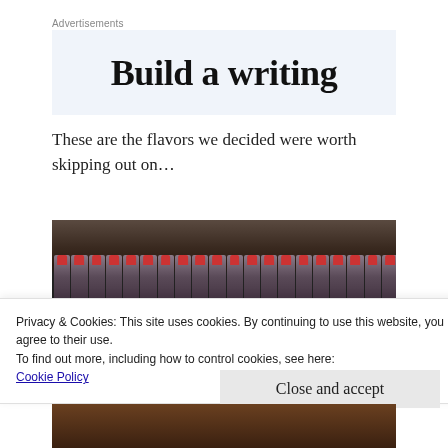Advertisements
[Figure (screenshot): Advertisement banner showing partial text 'Build a writing']
These are the flavors we decided were worth skipping out on...
[Figure (photo): Photo of multiple small bottles with red caps on a shelf, seen from below]
Privacy & Cookies: This site uses cookies. By continuing to use this website, you agree to their use.
To find out more, including how to control cookies, see here: Cookie Policy
Close and accept
[Figure (photo): Partial photo at bottom of page, appears to show a wooden surface]